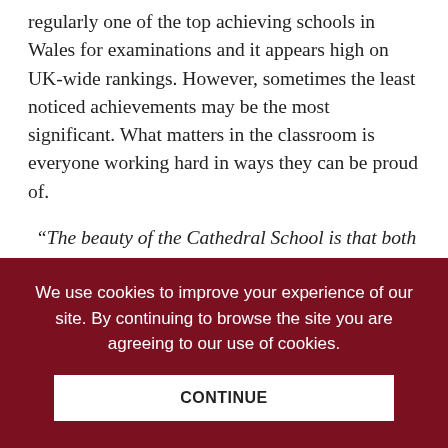regularly one of the top achieving schools in Wales for examinations and it appears high on UK-wide rankings. However, sometimes the least noticed achievements may be the most significant. What matters in the classroom is everyone working hard in ways they can be proud of.
“The beauty of the Cathedral School is that both of my children are given the space and opportunity to thrive. They are encouraged to be curious and proactive and most importantly, they are helped to develop self-esteem and self-confidence. You just can’t put a price on that”. A CSL parent
We use cookies to improve your experience of our site. By continuing to browse the site you are agreeing to our use of cookies.
CONTINUE